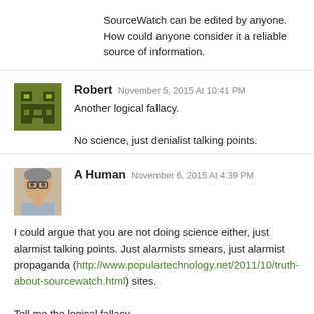SourceWatch can be edited by anyone. How could anyone consider it a reliable source of information.
Robert November 5, 2015 At 10:41 PM
Another logical fallacy.

No science, just denialist talking points.
A Human November 6, 2015 At 4:39 PM

I could argue that you are not doing science either, just alarmist talking points. Just alarmists smears, just alarmist propaganda (http://www.populartechnology.net/2011/10/truth-about-sourcewatch.html) sites.

Tell me the logical fallacy.